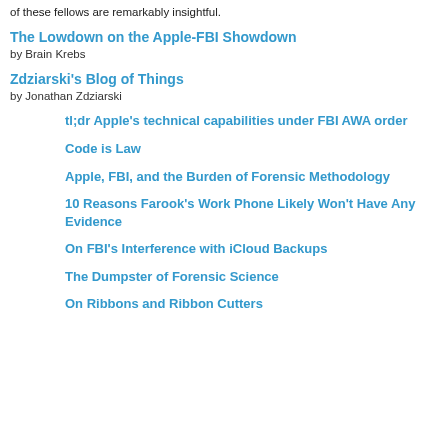of these fellows are remarkably insightful.
The Lowdown on the Apple-FBI Showdown
by Brain Krebs
Zdziarski's Blog of Things
by Jonathan Zdziarski
tl;dr Apple's technical capabilities under FBI AWA order
Code is Law
Apple, FBI, and the Burden of Forensic Methodology
10 Reasons Farook's Work Phone Likely Won't Have Any Evidence
On FBI's Interference with iCloud Backups
The Dumpster of Forensic Science
On Ribbons and Ribbon Cutters